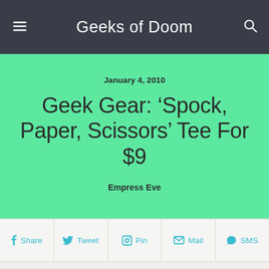Geeks of Doom
January 4, 2010
Geek Gear: ‘Spock, Paper, Scissors’ Tee For $9
Empress Eve
Share | Tweet | Pin | Mail | SMS